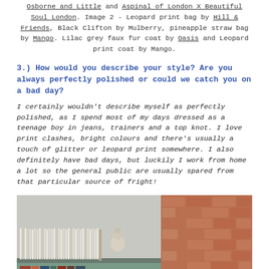Osborne and Little and Aspinal of London X Beautiful Soul London. Image 2 - Leopard print bag by Hill & Friends, Black Clifton by Mulberry, pineapple straw bag by Mango. Lilac grey faux fur coat by Oasis and Leopard print coat by Mango.
3.) How would you describe your style? Are you always perfectly polished or could we catch you on a bad day?
I certainly wouldn't describe myself as perfectly polished, as I spend most of my days dressed as a teenage boy in jeans, trainers and a top knot. I love print clashes, bright colours and there's usually a touch of glitter or leopard print somewhere. I also definitely have bad days, but luckily I work from home a lot so the general public are usually spared from that particular source of fright!
[Figure (photo): Interior photo showing a shelf with many books and a small decorative figurine on the left, and an exposed brick wall on the right.]